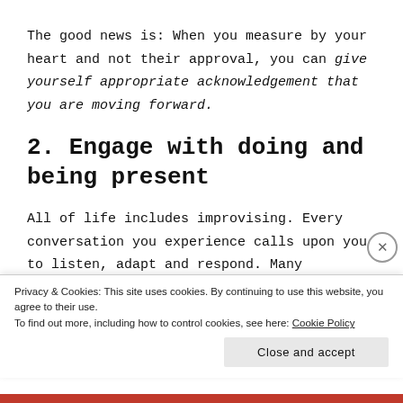The good news is: When you measure by your heart and not their approval, you can give yourself appropriate acknowledgement that you are moving forward.
2. Engage with doing and being present
All of life includes improvising. Every conversation you experience calls upon you to listen, adapt and respond. Many conversations involve restraining
Privacy & Cookies: This site uses cookies. By continuing to use this website, you agree to their use.
To find out more, including how to control cookies, see here: Cookie Policy
Close and accept